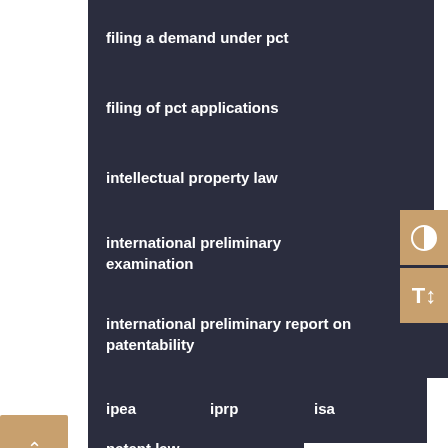filing a demand under pct
filing of pct applications
intellectual property law
international preliminary examination
international preliminary report on patentability
ipea
iprp
isa
patent law
patent law firm in india